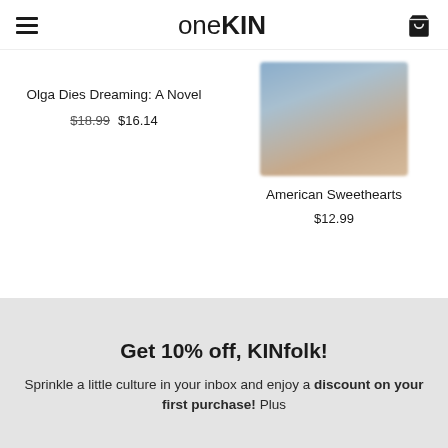oneKIN
[Figure (photo): Blurred book cover image for American Sweethearts]
Olga Dies Dreaming: A Novel
$18.99  $16.14
American Sweethearts
$12.99
Get 10% off, KINfolk!
Sprinkle a little culture in your inbox and enjoy a discount on your first purchase! Plus